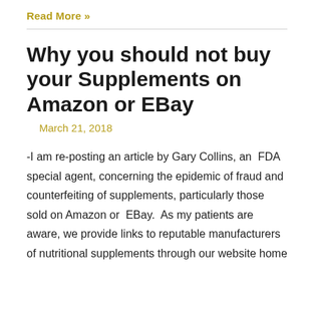Read More »
Why you should not buy your Supplements on Amazon or EBay
March 21, 2018
-I am re-posting an article by Gary Collins, an FDA special agent, concerning the epidemic of fraud and counterfeiting of supplements, particularly those sold on Amazon or EBay. As my patients are aware, we provide links to reputable manufacturers of nutritional supplements through our website home